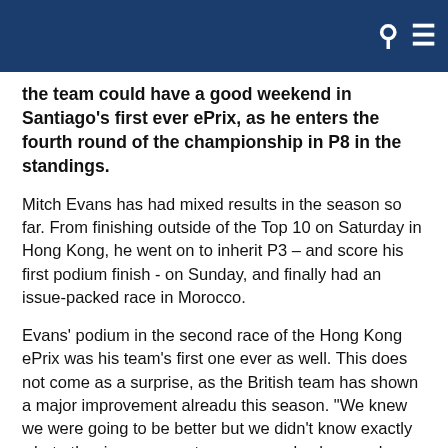🔍 ☰
the team could have a good weekend in Santiago's first ever ePrix, as he enters the fourth round of the championship in P8 in the standings.
Mitch Evans has had mixed results in the season so far. From finishing outside of the Top 10 on Saturday in Hong Kong, he went on to inherit P3 – and score his first podium finish - on Sunday, and finally had an issue-packed race in Morocco.
Evans' podium in the second race of the Hong Kong ePrix was his team's first one ever as well. This does not come as a surprise, as the British team has shown a major improvement alreadu this season. "We knew we were going to be better but we didn't know exactly what other improvements everyone else has made.